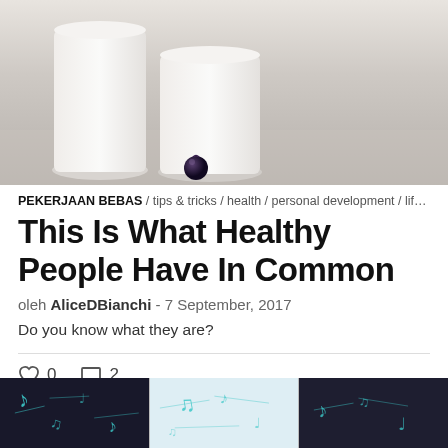[Figure (photo): Hero image showing white ceramic cups/vases on a linen surface with a blueberry in the foreground, neutral/beige tones]
PEKERJAAN BEBAS / tips & tricks / health / personal development / lifest...
This Is What Healthy People Have In Common
oleh AliceDBianchi - 7 September, 2017
Do you know what they are?
0   2
[Figure (photo): Bottom strip showing three panels: dark panel with musical notes decorations (left), light blue panel with musical note decorations (center), dark panel (right)]